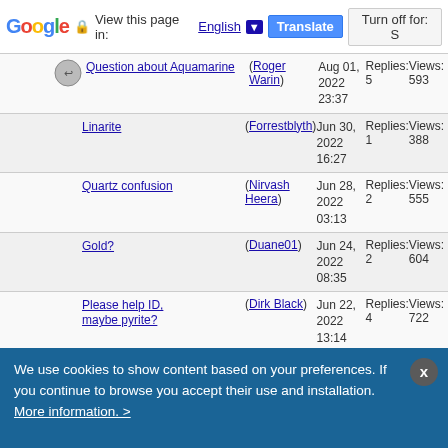Google | View this page in: English | Translate | Turn off for: S
Question about Aquamarine (Roger Warin) Aug 01, 2022 23:37 Replies: 5 Views: 593
Linarite (Forrestblyth) Jun 30, 2022 16:27 Replies: 1 Views: 388
Quartz confusion (Nirvash Heera) Jun 28, 2022 03:13 Replies: 2 Views: 555
Gold? (Duane01) Jun 24, 2022 08:35 Replies: 2 Views: 604
Please help ID, maybe pyrite? (Dirk Black) Jun 22, 2022 13:14 Replies: 4 Views: 722
Familiar label style (Pete Richards) Jun 18, 2022 14:47 Replies: 1 Views: 450
...see all topics
Micros & Macros - Images of Minerals
In this Forum you can add photos of minerals micromounts or macro minerals, give opinions on their identification, and share information on microscopes and taking photos.   Moderators chris, Antonio
We use cookies to show content based on your preferences. If you continue to browse you accept their use and installation. More information. >